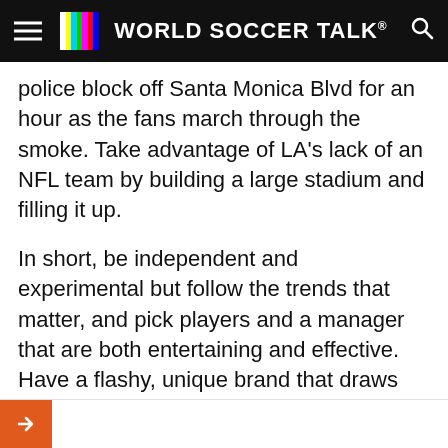WORLD SOCCER TALK
police block off Santa Monica Blvd for an hour as the fans march through the smoke. Take advantage of LA's lack of an NFL team by building a large stadium and filling it up.
In short, be independent and experimental but follow the trends that matter, and pick players and a manager that are both entertaining and effective. Have a flashy, unique brand that draws fans from all over Southern California. Bust out in 2017 with a killer squad that plays attractive soccer, and focus on trophies from day one. Show the world that the MLS is growing, and that American fans can truly care about soccer.